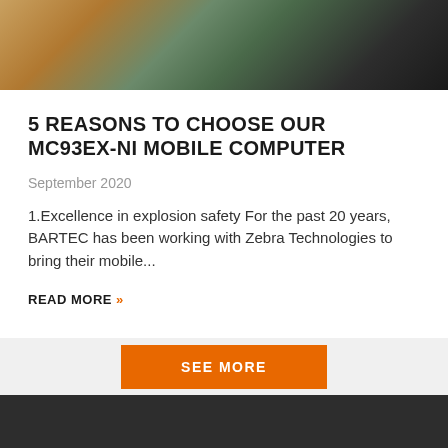[Figure (photo): Person in high-visibility vest holding a green rugged mobile computer/barcode scanner device]
5 REASONS TO CHOOSE OUR MC93EX-NI MOBILE COMPUTER
September 2020
1.Excellence in explosion safety For the past 20 years, BARTEC has been working with Zebra Technologies to bring their mobile...
READ MORE »